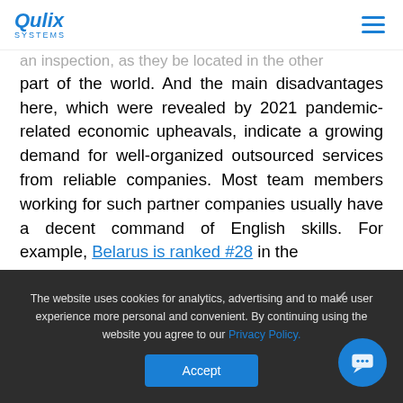Qulix Systems
an inspection, as they be located in the other part of the world. And the main disadvantages here, which were revealed by 2021 pandemic-related economic upheavals, indicate a growing demand for well-organized outsourced services from reliable companies. Most team members working for such partner companies usually have a decent command of English skills. For example, Belarus is ranked #28 in the
The website uses cookies for analytics, advertising and to make user experience more personal and convenient. By continuing using the website you agree to our Privacy Policy.
Accept